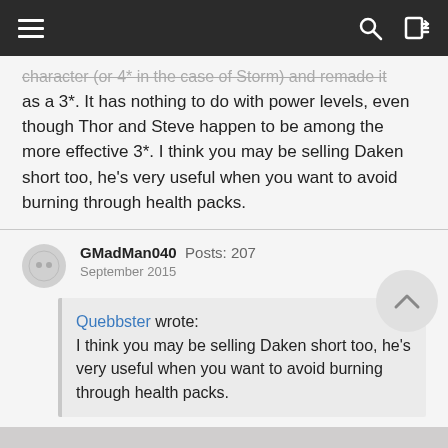Navigation bar with hamburger menu, search, and login icons
character (or 4* in the case of Storm) and remade it as a 3*. It has nothing to do with power levels, even though Thor and Steve happen to be among the more effective 3*. I think you may be selling Daken short too, he's very useful when you want to avoid burning through health packs.
GMadMan040  Posts: 207
September 2015
Quebbster wrote:
I think you may be selling Daken short too, he's very useful when you want to avoid burning through health packs.